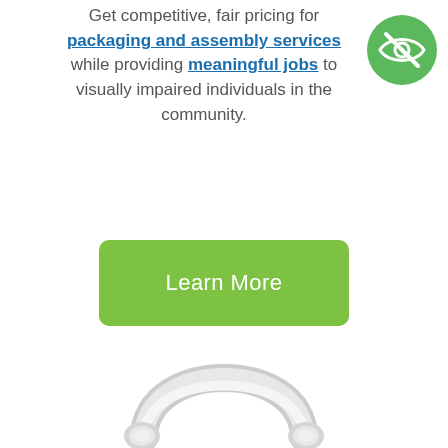Get competitive, fair pricing for packaging and assembly services while providing meaningful jobs to visually impaired individuals in the community.
[Figure (illustration): Green circle icon with a crossed-out eye symbol (visually impaired / blind icon)]
[Figure (illustration): Green rounded rectangle button with white text 'Learn More']
[Figure (illustration): White/silver headphones partially visible at bottom of page]